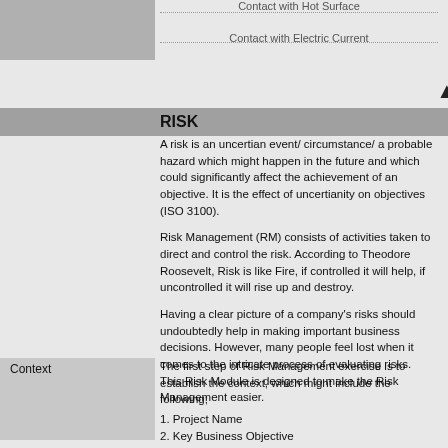Contact with Hot Surface
Contact with Electric Current
RISK
A risk is an uncertian event/ circumstance/ a probable hazard which might happen in the future and which could significantly affect the achievement of an objective. It is the effect of uncertianity on objectives (ISO 3100).
Risk Management (RM) consists of activities taken to direct and control the risk. According to Theodore Roosevelt, Risk is like Fire, if controlled it will help, if uncontrolled it will rise up and destroy.
Having a clear picture of a company's risks should undoubtedly help in making important business decisions. However, many people feel lost when it comes to the intricate process of evaluating risks. This Risk Module is designed to make the Risk Management easier.
Context
The first step of Risk Management exercise is to establish the context, which might include the following;
1. Project Name
2. Key Business Objective
3. Content of the RM exercise
4. Context
5. Team Structure
6. Frequency of Exercise